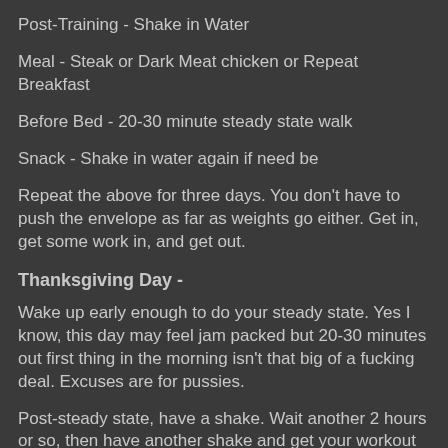Post-Training - Shake in Water
Meal - Steak or Dark Meat chicken or Repeat Breakfast
Before Bed - 20-30 minute steady state walk
Snack - Shake in water again if need be
Repeat the above for three days.  You don't have to push the envelope as far as weights go either.  Get in, get some work in, and get out.
Thanksgiving Day -
Wake up early enough to do your steady state.  Yes I know, this day may feel jam packed but 20-30 minutes out first thing in the morning isn't that big of a fucking deal.  Excuses are for pussies.
Post-steady state, have a shake.  Wait another 2 hours or so, then have another shake and get your workout in.  Try to make this session as long and as hard as possible.  I don't